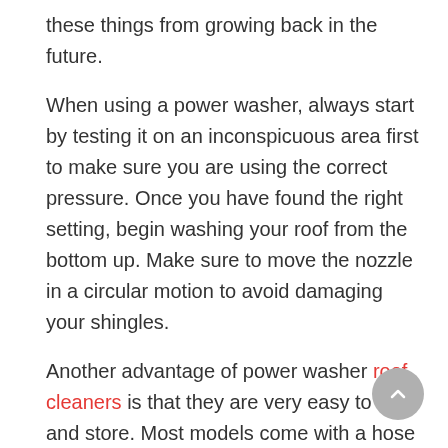these things from growing back in the future.
When using a power washer, always start by testing it on an inconspicuous area first to make sure you are using the correct pressure. Once you have found the right setting, begin washing your roof from the bottom up. Make sure to move the nozzle in a circular motion to avoid damaging your shingles.
Another advantage of power washer roof cleaners is that they are very easy to use and store. Most models come with a hose reel or water inlet so you won't have to worry about dragging around a heavy hose. And since they are so compact, you can easily store them in your garage or shed.
Finally, power washer roof cleaners are great for preventing algae and moss from growing on your roof. The high pressure of the nozzle will remove any dirt, debris, or fungi that...